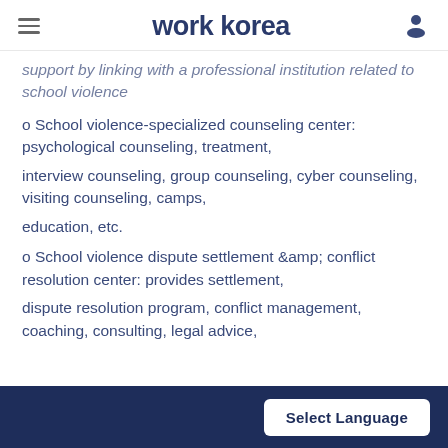work korea
support by linking with a professional institution related to school violence
o School violence-specialized counseling center: psychological counseling, treatment,
interview counseling, group counseling, cyber counseling, visiting counseling, camps,
education, etc.
o School violence dispute settlement &amp; conflict resolution center: provides settlement,
dispute resolution program, conflict management, coaching, consulting, legal advice,
Select Language